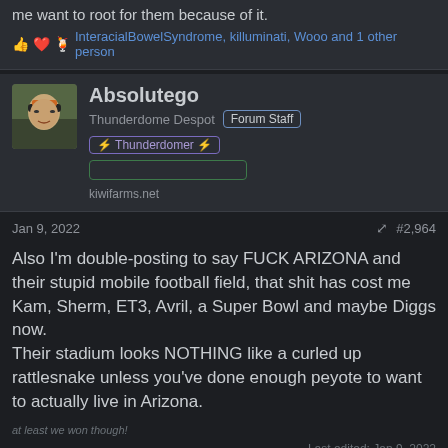me want to root for them because of it.
👍❤️🍹 InteracialBowelSyndrome, killuminati, Wooo and 1 other person
Absolutego
Thunderdome Despot  Forum Staff  ⚡ Thunderdomer ⚡
kiwifarms.net
Jan 9, 2022  #2,964
Also I'm double-posting to say FUCK ARIZONA and their stupid mobile football field, that shit has cost me Kam, Sherm, ET3, Avril, a Super Bowl and maybe Diggs now.
Their stadium looks NOTHING like a curled up rattlesnake unless you've done enough peyote to want to actually live in Arizona.
at least we won though!
Last edited: Jan 9, 2022